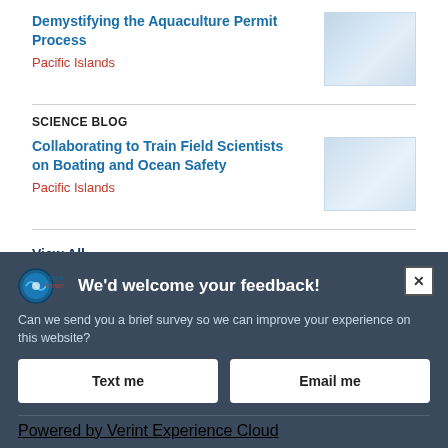Demystifying the Aquaculture Permit Process
Pacific Islands
[Figure (photo): Aquaculture permit process related image]
SCIENCE BLOG
Collaborating to Train Field Scientists on Boating and Ocean Safety
Pacific Islands
[Figure (photo): Field scientists boating and ocean safety image]
View All >
We'd welcome your feedback! Can we send you a brief survey so we can improve your experience on this website?
Text me
Email me
Powered by Verint Experience Cloud